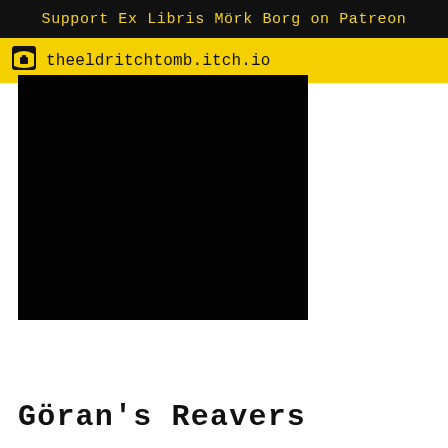Support Ex Libris Mörk Borg on Patreon
theeldritchtomb.itch.io
[Figure (photo): Dark/black textured image, nearly completely black with subtle noise/grain texture, appears to be a dark atmospheric artwork for a tabletop RPG supplement.]
Göran's Reavers